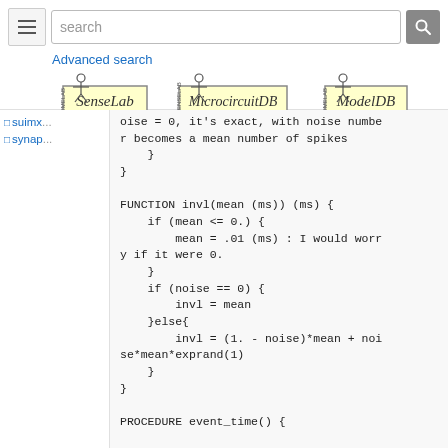[Figure (screenshot): Search bar with menu button, search input field showing 'search' placeholder, and magnifying glass button]
Advanced search
[Figure (logo): Three logos side by side: SenseLab, MicrocircuitDB, ModelDB — all SENSELAB branded with stick figure icons]
sumx...
synap...
oise = 0, it's exact, with noise number becomes a mean number of spikes
    }
}

FUNCTION invl(mean (ms)) (ms) {
    if (mean <= 0.) {
        mean = .01 (ms) : I would worry if it were 0.
    }
    if (noise == 0) {
        invl = mean
    }else{
        invl = (1. - noise)*mean + noise*mean*exprand(1)
    }
}

PROCEDURE event_time() {